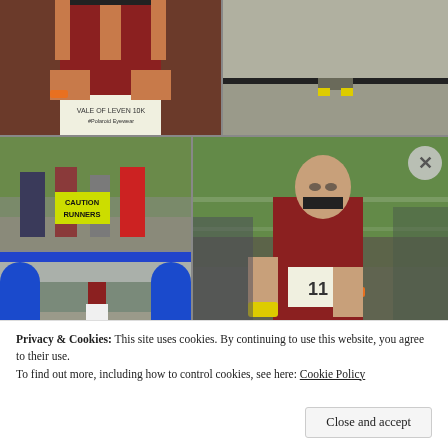[Figure (photo): Grid of 5 running/race photos: top-left shows runner in red vest holding race bib 'Vale of Leven 10K #Polaroid Eyewear' with orange wristband giving thumbs up; top-right shows runner on road from behind; middle-left shows group near 'CAUTION RUNNERS' yellow sign; bottom-left shows runner at finish line with blue arch; right large photo shows bald runner in red vest with orange wristband racing, motion blur background.]
Privacy & Cookies: This site uses cookies. By continuing to use this website, you agree to their use.
To find out more, including how to control cookies, see here: Cookie Policy
Close and accept